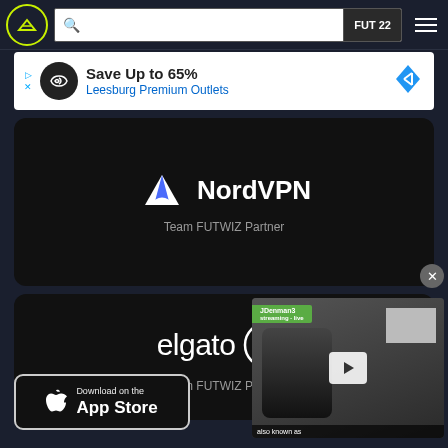[Figure (screenshot): FUTWIZ website navigation bar with logo, search bar with FUT 22 button, and hamburger menu]
[Figure (screenshot): Advertisement banner: Save Up to 65% Leesburg Premium Outlets]
[Figure (logo): NordVPN logo with mountain icon and text NordVPN. Below: Team FUTWIZ Partner]
[Figure (logo): Elgato logo with play icon. Below: Team FUTWIZ Partner]
[Figure (screenshot): Video thumbnail showing JDenman streaming, with green banner and known as caption]
[Figure (screenshot): Download on the App Store button]